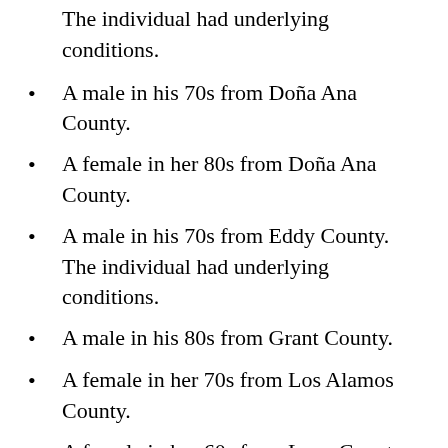The individual had underlying conditions.
A male in his 70s from Doña Ana County.
A female in her 80s from Doña Ana County.
A male in his 70s from Eddy County. The individual had underlying conditions.
A male in his 80s from Grant County.
A female in her 70s from Los Alamos County.
A female in her 60s from Luna County. The individual was hospitalized and had underlying conditions.
A female in her 80s from Rio Arriba County.